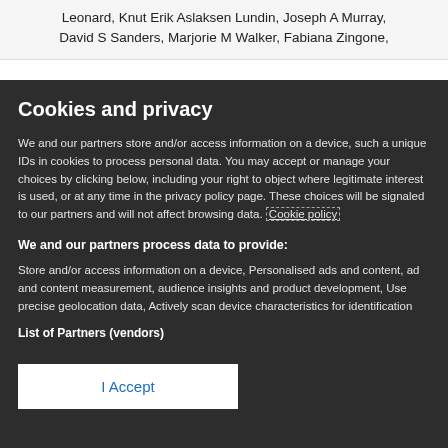Leonard, Knut Erik Aslaksen Lundin, Joseph A Murray, David S Sanders, Marjorie M Walker, Fabiana Zingone,
Cookies and privacy
We and our partners store and/or access information on a device, such a unique IDs in cookies to process personal data. You may accept or manage your choices by clicking below, including your right to object where legitimate interest is used, or at any time in the privacy policy page. These choices will be signaled to our partners and will not affect browsing data. Cookie policy
We and our partners process data to provide:
Store and/or access information on a device, Personalised ads and content, ad and content measurement, audience insights and product development, Use precise geolocation data, Actively scan device characteristics for identification
List of Partners (vendors)
I Accept